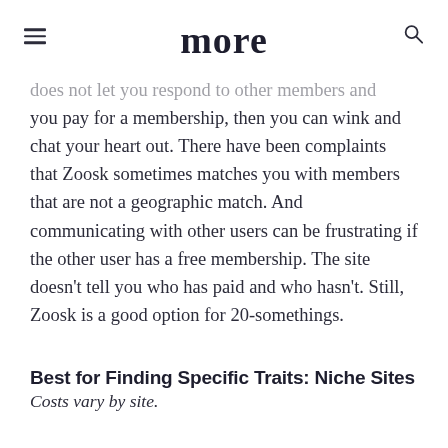more
does not let you respond to other members and if you pay for a membership, then you can wink and chat your heart out. There have been complaints that Zoosk sometimes matches you with members that are not a geographic match. And communicating with other users can be frustrating if the other user has a free membership. The site doesn't tell you who has paid and who hasn't. Still, Zoosk is a good option for 20-somethings.
Best for Finding Specific Traits: Niche Sites
Costs vary by site.